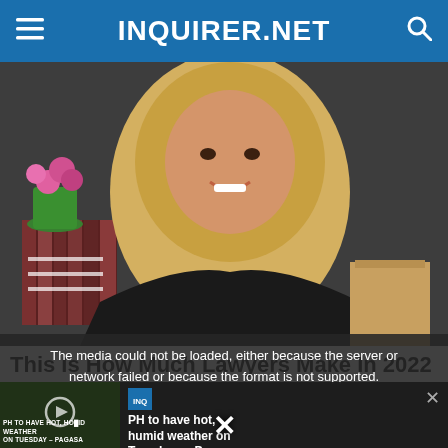INQUIRER.NET
[Figure (photo): Blonde woman in judge's black robe smiling, with law books and flowers in background]
This Is How Much Lawyers Make In 2022
[Figure (screenshot): Video media error overlay: 'The media could not be loaded, either because the server or network failed or because the format is not supported.' with a video thumbnail showing 'PH TO HAVE HOT, HUMID WEATHER ON TUESDAY – PAGASA' and a popup with title 'PH to have hot, humid weather on Tuesday — Pagasa' and close X button at bottom]